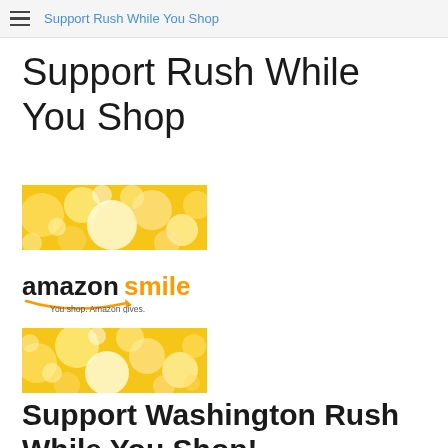Support Rush While You Shop
Support Rush While You Shop
[Figure (illustration): Bokeh golden light background image banner]
[Figure (logo): Amazon Smile logo - amazonsmile You shop. Amazon gives.]
[Figure (illustration): Bokeh golden light background image banner]
Support Washington Rush While You Shop!
This is an easy way to support Washington Rush